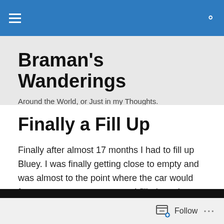Braman's Wanderings — navigation bar
Braman's Wanderings
Around the World, or Just in my Thoughts.
Finally a Fill Up
Finally after almost 17 months I had to fill up Bluey. I was finally getting close to empty and was almost to the point where the car would force me to use gas anyway. I filled up almost two weeks ago, but have been posting about Japan during the Olympics.
Follow